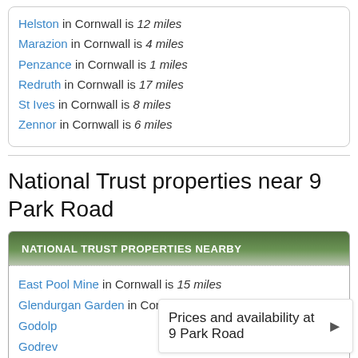Helston in Cornwall is 12 miles
Marazion in Cornwall is 4 miles
Penzance in Cornwall is 1 miles
Redruth in Cornwall is 17 miles
St Ives in Cornwall is 8 miles
Zennor in Cornwall is 6 miles
National Trust properties near 9 Park Road
East Pool Mine in Cornwall is 15 miles
Glendurgan Garden in Cornwall is 19 miles
Godolp...
Godrev...
Prices and availability at 9 Park Road